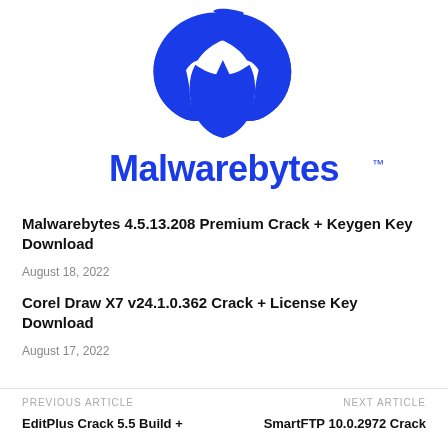[Figure (logo): Malwarebytes logo — blue shield/bug icon above the text 'Malwarebytes' in bold blue lettering with a TM mark]
Malwarebytes 4.5.13.208 Premium Crack + Keygen Key Download
August 18, 2022
Corel Draw X7 v24.1.0.362 Crack + License Key Download
August 17, 2022
PREVIOUS ARTICLE
NEXT ARTICLE
EditPlus Crack 5.5 Build +
SmartFTP 10.0.2972 Crack